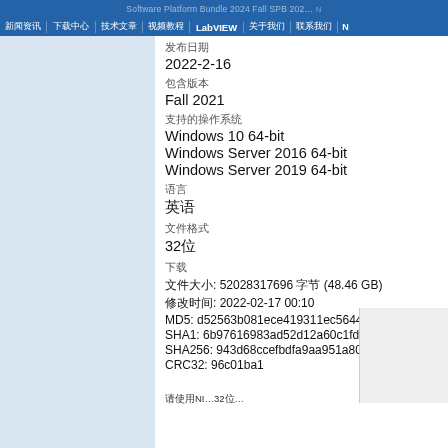Software Platform Bundle 2024 Fall SPB 2024 — LabVIEW navigation bar
发布日期
2022-2-16
包含版本
Fall 2021
支持的操作系统
Windows 10 64-bit
Windows Server 2016 64-bit
Windows Server 2019 64-bit
语言
英语
文件格式
32位
下载
文件大小: 52028317696 字节 (48.46 GB)
修改时间: 2022-02-17 00:10
MD5: d52563b081ece419311ec56446ce...
SHA1: 6b97616983ad52d12a60c1fdbbb6840d3...
SHA256: 943d68ccefbdfa9aa951a809de2685bf...
CRC32: 96c01ba1
LabVIEW下载链接
百度网盘下载链接
迅雷下载链接